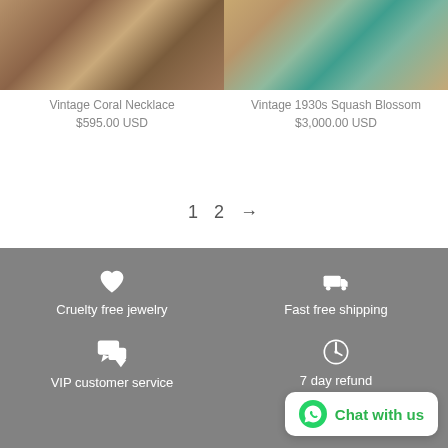[Figure (photo): Vintage Coral Necklace product image on wood background]
Vintage Coral Necklace
$595.00 USD
[Figure (photo): Vintage 1930s Squash Blossom product image with turquoise jewelry on wood background]
Vintage 1930s Squash Blossom
$3,000.00 USD
1  2  →
Cruelty free jewelry
Fast free shipping
VIP customer service
7 day refund